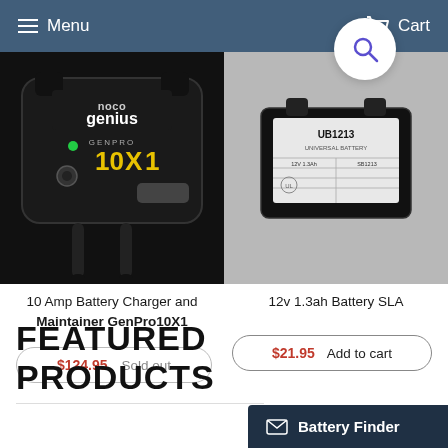Menu  Cart
[Figure (photo): NOCO Genius GENPRO 10X1 battery charger, dark plastic body with yellow text and green LED, shot from above on dark background]
[Figure (photo): UB1213 12v 1.3ah SLA battery, black rectangular battery with white label showing UB1213 model number]
10 Amp Battery Charger and Maintainer GenPro10X1
12v 1.3ah Battery SLA
$124.95   Sold out
$21.95   Add to cart
FEATURED PRODUCTS
Battery Finder